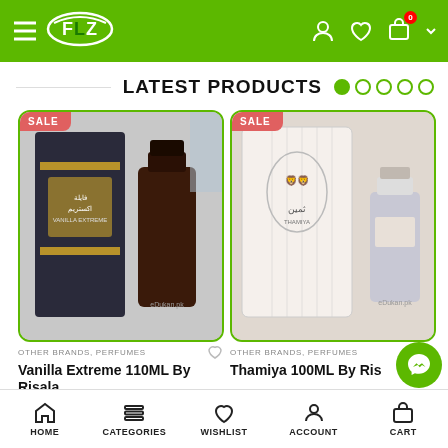eDukan.pk - Header with hamburger menu, logo, user, wishlist, cart icons
LATEST PRODUCTS
[Figure (photo): Perfume product image with SALE badge - Vanilla Extreme 110ML, dark box with Arabic text, brown bottle]
[Figure (photo): Perfume product image with SALE badge - Thamiya 100ML, white box with Arabic text and logo, silver/pink bottle]
OTHER BRANDS, PERFUMES
Vanilla Extreme 110ML By Risala
OTHER BRANDS, PERFUMES
Thamiya 100ML By Ris...
HOME | CATEGORIES | WISHLIST | ACCOUNT | CART